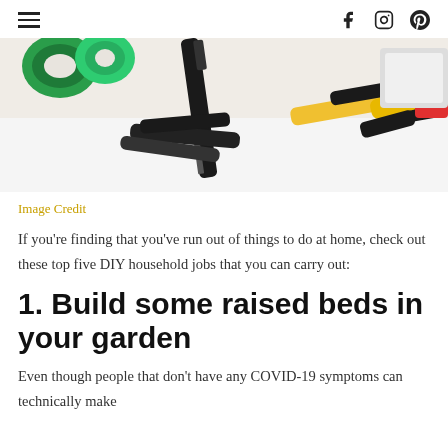☰  f  Instagram  Pinterest
[Figure (photo): Overhead view of various hand tools including pliers, a screwdriver, and other tools on a white surface with green tape rolls in the background]
Image Credit
If you're finding that you've run out of things to do at home, check out these top five DIY household jobs that you can carry out:
1. Build some raised beds in your garden
Even though people that don't have any COVID-19 symptoms can technically make